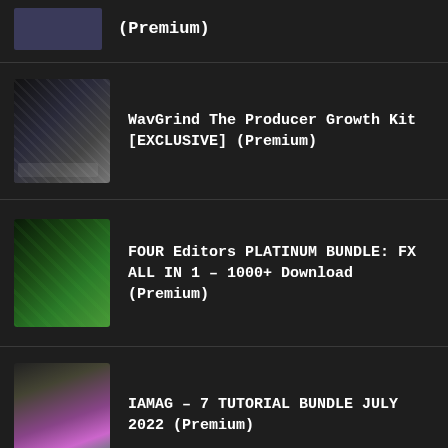(Premium)
WavGrind The Producer Growth Kit [EXCLUSIVE] (Premium)
FOUR Editors PLATINUM BUNDLE: FX ALL IN 1 – 1000+ Download (Premium)
IAMAG – 7 TUTORIAL BUNDLE JULY 2022 (Premium)
[Figure (screenshot): Partial thumbnail and green banner at the bottom of the page]